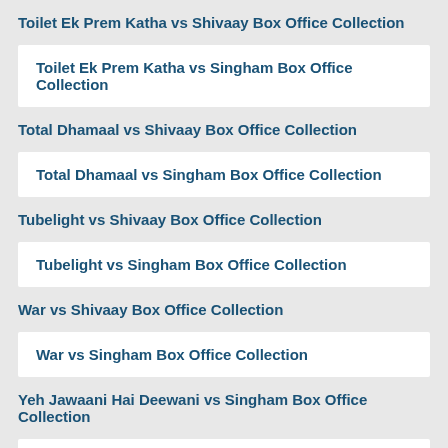Toilet Ek Prem Katha vs Shivaay Box Office Collection
Toilet Ek Prem Katha vs Singham Box Office Collection
Total Dhamaal vs Shivaay Box Office Collection
Total Dhamaal vs Singham Box Office Collection
Tubelight vs Shivaay Box Office Collection
Tubelight vs Singham Box Office Collection
War vs Shivaay Box Office Collection
War vs Singham Box Office Collection
Yeh Jawaani Hai Deewani vs Singham Box Office Collection
Zero vs Shivaay Box Office Collection